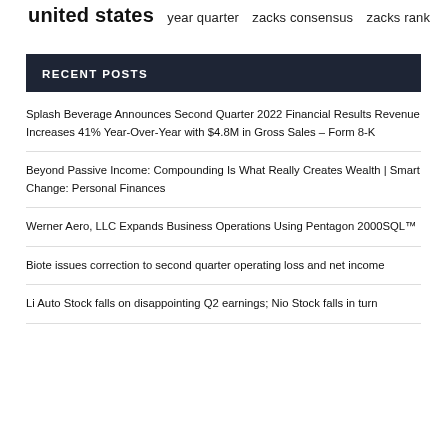united states  year quarter  zacks consensus  zacks rank
RECENT POSTS
Splash Beverage Announces Second Quarter 2022 Financial Results Revenue Increases 41% Year-Over-Year with $4.8M in Gross Sales – Form 8-K
Beyond Passive Income: Compounding Is What Really Creates Wealth | Smart Change: Personal Finances
Werner Aero, LLC Expands Business Operations Using Pentagon 2000SQL™
Biote issues correction to second quarter operating loss and net income
Li Auto Stock falls on disappointing Q2 earnings; Nio Stock falls in turn